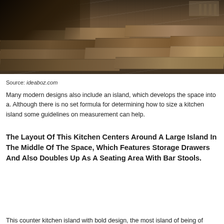[Figure (photo): Kitchen interior photo showing hardwood floor planks in brown/tan tones with a dark kitchen island or cabinet partially visible in the upper left corner and what appears to be a shelving unit in the upper right background.]
Source: ideaboz.com
Many modern designs also include an island, which develops the space into a. Although there is no set formula for determining how to size a kitchen island some guidelines on measurement can help.
The Layout Of This Kitchen Centers Around A Large Island In The Middle Of The Space, Which Features Storage Drawers And Also Doubles Up As A Seating Area With Bar Stools.
This counter kitchen island with bold design, the most island of being of